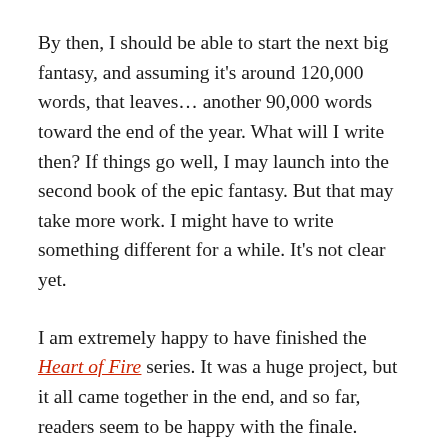By then, I should be able to start the next big fantasy, and assuming it's around 120,000 words, that leaves… another 90,000 words toward the end of the year. What will I write then? If things go well, I may launch into the second book of the epic fantasy. But that may take more work. I might have to write something different for a while. It's not clear yet.
I am extremely happy to have finished the Heart of Fire series. It was a huge project, but it all came together in the end, and so far, readers seem to be happy with the finale.
It's very hard to say goodbye to Marshal, Seri, and their friends. And maybe we'll see them again. One possible